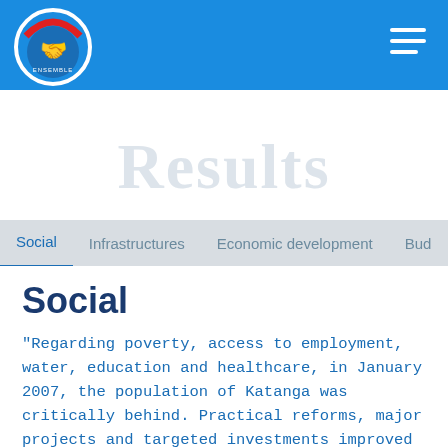Ensemble — header bar with logo and hamburger menu
Results
Social | Infrastructures | Economic development | Bud…
Social
"Regarding poverty, access to employment, water, education and healthcare, in January 2007, the population of Katanga was critically behind. Practical reforms, major projects and targeted investments improved the population's daily life and reduced poverty."